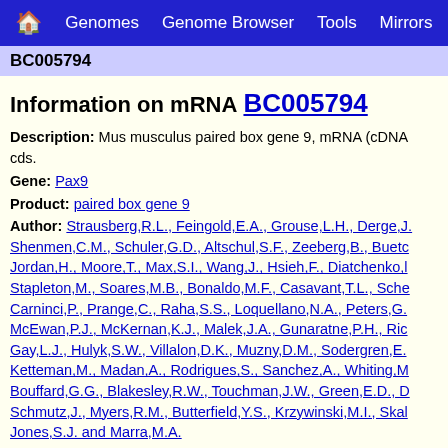Home | Genomes | Genome Browser | Tools | Mirrors
BC005794
Information on mRNA BC005794
Description: Mus musculus paired box gene 9, mRNA (cDNA clone MGC:28359 IMAGE:4502481), complete cds.
Gene: Pax9
Product: paired box gene 9
Author: Strausberg,R.L., Feingold,E.A., Grouse,L.H., Derge,J.G., Klausner,R.D., Collins,F.S., Wagner,L., Shenmen,C.M., Schuler,G.D., Altschul,S.F., Zeeberg,B., Buetow,K.H., Schaefer,C.F., Bhat,N.K., Hopkins,R.F., Jordan,H., Moore,T., Max,S.I., Wang,J., Hsieh,F., Diatchenko,L., Marusina,K., Farmer,A.A., Rubin,G.M., Hong,L., Stapleton,M., Soares,M.B., Bonaldo,M.F., Casavant,T.L., Scheetz,T.E., Brownstein,M.J., Usdin,T.B., Toshiyuki,S., Carninci,P., Prange,C., Raha,S.S., Loquellano,N.A., Peters,G.J., Abramson,R.D., Mullahy,S.J., Bosak,S.A., McEwan,P.J., McKernan,K.J., Malek,J.A., Gunaratne,P.H., Richards,S., Worley,K.C., Hale,S., Garcia,A.M., Gay,L.J., Hulyk,S.W., Villalon,D.K., Muzny,D.M., Sodergren,E.J., Lu,X., Gibbs,R.A., Fahey,J., Helton,E., Ketteman,M., Madan,A., Rodrigues,S., Sanchez,A., Whiting,M., Young,A.C., Shevchenko,Y., Bouffard,G.G., Blakesley,R.W., Touchman,J.W., Green,E.D., Dickson,M.C., Rodriguez,A.C., Grimwood,J., Schmutz,J., Myers,R.M., Butterfield,Y.S., Krzywinski,M.I., Skalska,U., Smailus,D.E., Schnerch,A., Schein,J.E., Jones,S.J. and Marra,M.A.
Organism: Mus musculus
Tissue: mammary tumor. c3(1)-tag model. infiltrating ductal ca